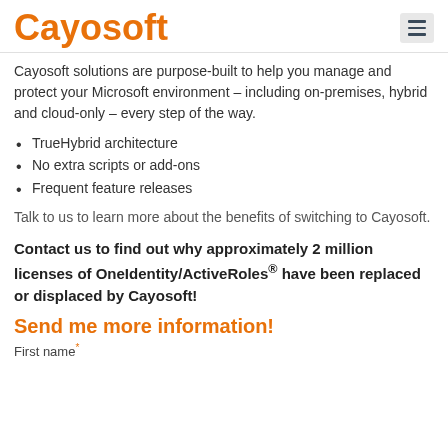Cayosoft
Cayosoft solutions are purpose-built to help you manage and protect your Microsoft environment – including on-premises, hybrid and cloud-only – every step of the way.
TrueHybrid architecture
No extra scripts or add-ons
Frequent feature releases
Talk to us to learn more about the benefits of switching to Cayosoft.
Contact us to find out why approximately 2 million licenses of OneIdentity/ActiveRoles® have been replaced or displaced by Cayosoft!
Send me more information!
First name*